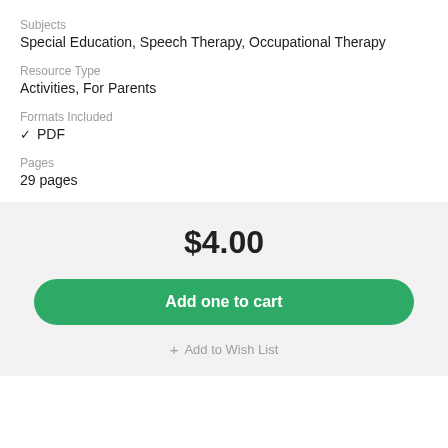Subjects
Special Education, Speech Therapy, Occupational Therapy
Resource Type
Activities, For Parents
Formats Included
PDF
Pages
29 pages
$4.00
Add one to cart
Add to Wish List